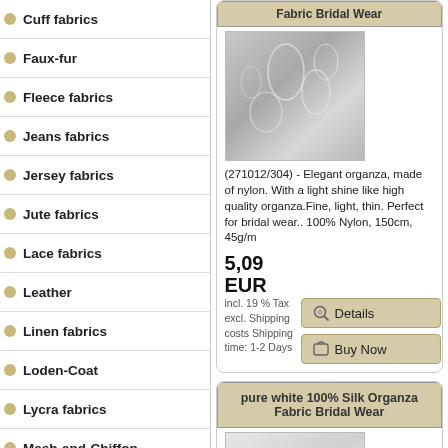Cuff fabrics
Faux-fur
Fleece fabrics
Jeans fabrics
Jersey fabrics
Jute fabrics
Lace fabrics
Leather
Linen fabrics
Loden-Coat
Lycra fabrics
Mesh-and-Chiffon
Military
Neoprene
Printed-fabrics
Satin fabrics
Sequin-fabrics
Silk fabrics
Sweatshirt
Taffeta fabrics
Towelling fabrics
Fabric Bridal Wear
[Figure (photo): Close-up photo of elegant nylon organza fabric with light shine]
(271012/304) - Elegant organza, made of nylon. With a light shine like high quality organza.Fine, light, thin. Perfect for bridal wear.. 100% Nylon, 150cm, 45g/m
5,09 EUR
incl. 19 % Tax excl. Shipping costs Shipping time: 1-2 Days
pure white 100% Silk Organza Fabric Bridal Wear
[Figure (photo): Close-up photo of pure white silk organza fabric]